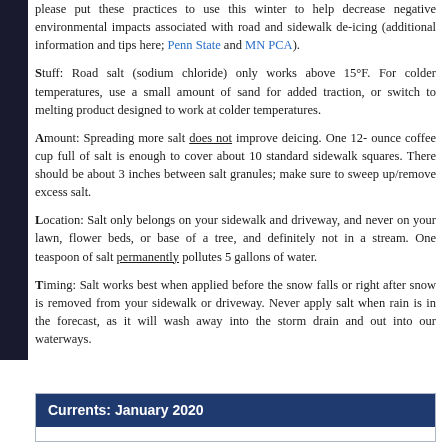please put these practices to use this winter to help decrease negative environmental impacts associated with road and sidewalk de-icing (additional information and tips here; Penn State and MN PCA).
Stuff: Road salt (sodium chloride) only works above 15°F. For colder temperatures, use a small amount of sand for added traction, or switch to melting product designed to work at colder temperatures.
Amount: Spreading more salt does not improve deicing. One 12-ounce coffee cup full of salt is enough to cover about 10 standard sidewalk squares. There should be about 3 inches between salt granules; make sure to sweep up/remove excess salt.
Location: Salt only belongs on your sidewalk and driveway, and never on your lawn, flower beds, or base of a tree, and definitely not in a stream. One teaspoon of salt permanently pollutes 5 gallons of water.
Timing: Salt works best when applied before the snow falls or right after snow is removed from your sidewalk or driveway. Never apply salt when rain is in the forecast, as it will wash away into the storm drain and out into our waterways.
Currents: January 2020